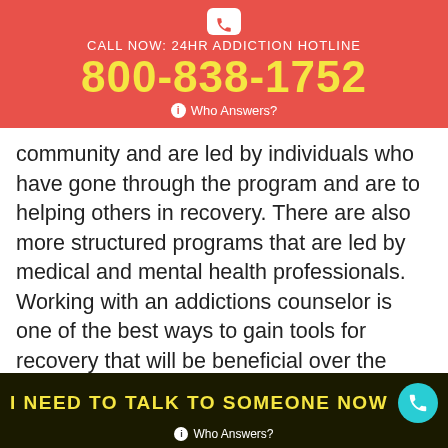CALL NOW: 24HR ADDICTION HOTLINE
800-838-1752
Who Answers?
community and are led by individuals who have gone through the program and are to helping others in recovery. There are also more structured programs that are led by medical and mental health professionals. Working with an addictions counselor is one of the best ways to gain tools for recovery that will be beneficial over the long term. Behavioral therapy, counseling, and group activities are all ways that new ideas and tools are learned and implemented during rehab. This allows for people to form new habits and make lasting changes in recovery. Having a safe and supportive
I NEED TO TALK TO SOMEONE NOW
Who Answers?